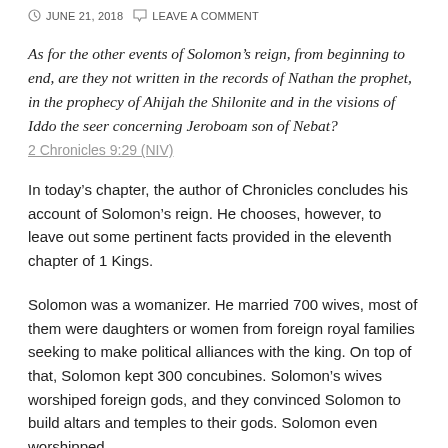JUNE 21, 2018   LEAVE A COMMENT
As for the other events of Solomon’s reign, from beginning to end, are they not written in the records of Nathan the prophet, in the prophecy of Ahijah the Shilonite and in the visions of Iddo the seer concerning Jeroboam son of Nebat?
2 Chronicles 9:29 (NIV)
In today’s chapter, the author of Chronicles concludes his account of Solomon’s reign. He chooses, however, to leave out some pertinent facts provided in the eleventh chapter of 1 Kings.
Solomon was a womanizer. He married 700 wives, most of them were daughters or women from foreign royal families seeking to make political alliances with the king. On top of that, Solomon kept 300 concubines. Solomon’s wives worshiped foreign gods, and they convinced Solomon to build altars and temples to their gods. Solomon even worshipped